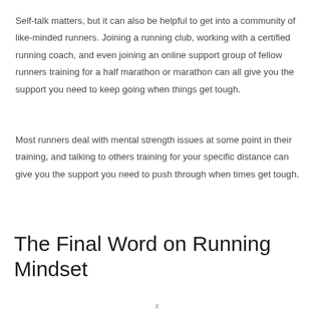Self-talk matters, but it can also be helpful to get into a community of like-minded runners. Joining a running club, working with a certified running coach, and even joining an online support group of fellow runners training for a half marathon or marathon can all give you the support you need to keep going when things get tough.
Most runners deal with mental strength issues at some point in their training, and talking to others training for your specific distance can give you the support you need to push through when times get tough.
The Final Word on Running Mindset
x